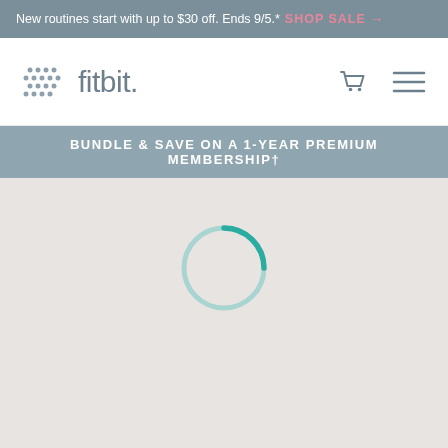New routines start with up to $30 off. Ends 9/5.* SHOP SALE →
[Figure (logo): Fitbit logo with dotted grid icon and wordmark 'fitbit.' in grey, plus cart and hamburger menu icons on the right]
BUNDLE & SAVE ON A 1-YEAR PREMIUM MEMBERSHIP†
[Figure (other): Loading spinner - a circle outline partially teal/dark teal on top-right arc, light teal on the remaining arc, on a light grey-beige background]